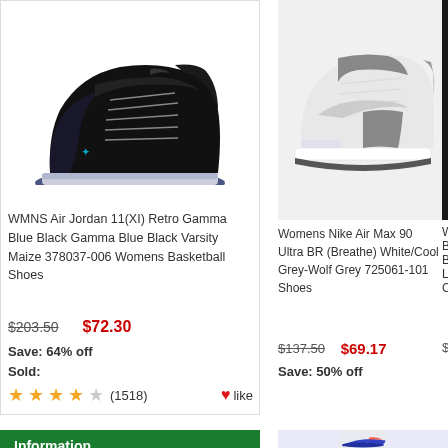[Figure (photo): Black Air Jordan 11 XI Retro basketball shoe with teal Jumpman logo on a white background]
WMNS Air Jordan 11(XI) Retro Gamma Blue Black Gamma Blue Black Varsity Maize 378037-006 Womens Basketball Shoes
$203.50  $72.30
Save: 64% off
Sold:
(1518)
like
[Figure (photo): White/Cool Grey Nike Air Max 90 Ultra running shoe on grey background]
Womens Nike Air Max 90 Ultra BR (Breathe) White/Cool Grey-Wolf Grey 725061-101 Shoes
$137.50  $69.17
Save: 50% off
[Figure (photo): Partially visible shoe image on dark background]
Wom... BR B... Lava... Casu...
$137...
Information
Shipping & Returns
Privacy Notice
[Figure (photo): Blue/coral Nike running shoe partially visible at bottom right]